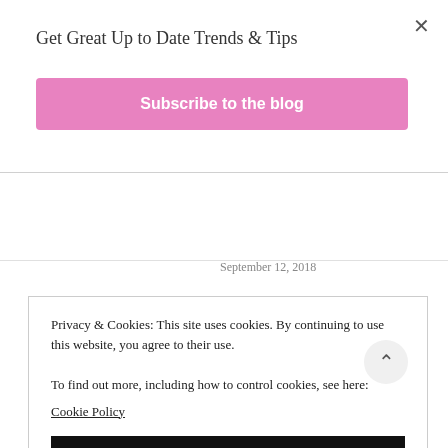×
Get Great Up to Date Trends & Tips
Subscribe to the blog
Related
13 Creative Weight-Loss Tips Ever (That Really Work!)
The 9 Things You Don't Have to do to Lose Weight
September 12, 2018
Privacy & Cookies: This site uses cookies. By continuing to use this website, you agree to their use.
To find out more, including how to control cookies, see here:
Cookie Policy
CLOSE AND ACCEPT